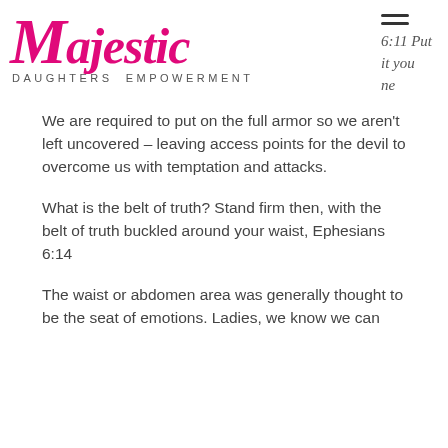[Figure (logo): Majestic Daughters Empowerment logo in pink cursive with subtitle]
6:11 Put on you ne
We are required to put on the full armor so we aren't left uncovered – leaving access points for the devil to overcome us with temptation and attacks.
What is the belt of truth? Stand firm then, with the belt of truth buckled around your waist, Ephesians 6:14
The waist or abdomen area was generally thought to be the seat of emotions. Ladies, we know we can